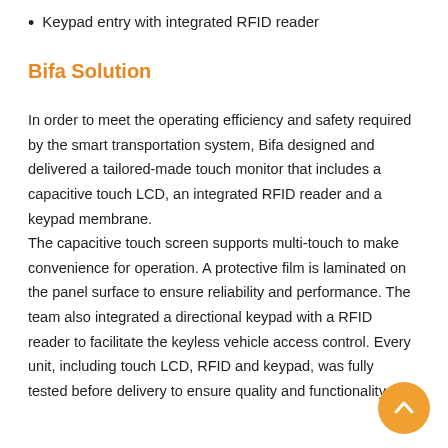Keypad entry with integrated RFID reader
Bifa Solution
In order to meet the operating efficiency and safety required by the smart transportation system, Bifa designed and delivered a tailored-made touch monitor that includes a capacitive touch LCD, an integrated RFID reader and a keypad membrane.
The capacitive touch screen supports multi-touch to make convenience for operation. A protective film is laminated on the panel surface to ensure reliability and performance. The team also integrated a directional keypad with a RFID reader to facilitate the keyless vehicle access control. Every unit, including touch LCD, RFID and keypad, was fully tested before delivery to ensure quality and functionality.